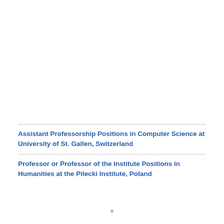Assistant Professorship Positions in Computer Science at University of St. Gallen, Switzerland
Professor or Professor of the Institute Positions in Humanities at the Pilecki Institute, Poland
×